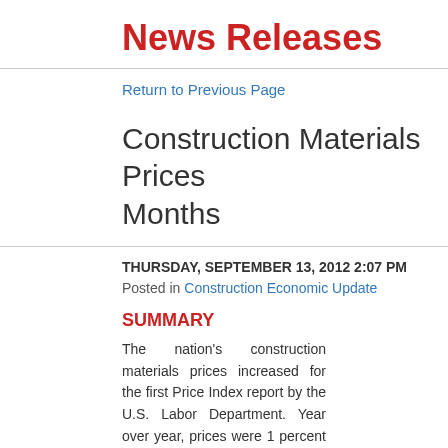News Releases
Return to Previous Page
Construction Materials Prices... Months
THURSDAY, SEPTEMBER 13, 2012 2:07 PM
Posted in Construction Economic Update
SUMMARY
The nation's construction materials prices increased for the first... Price Index report by the U.S. Labor Department. Year over year, prices were 1 percent higher for the month and are up 0.7 perce...
Most construction materials categories experienced price increa... than one year ago. Prices for nonferrous wire and cable product... twelve months. Concrete product prices rose 0.5 percent in Aug... prices increased 0.3 percent for the month, but are down 9.2 p...